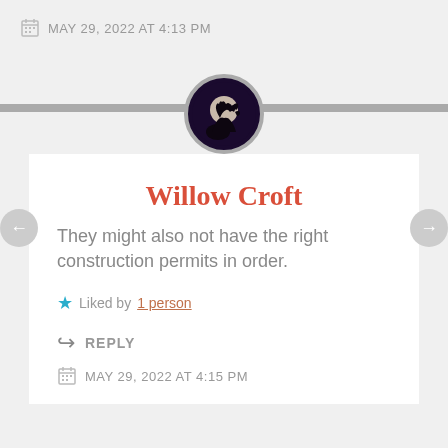MAY 29, 2022 AT 4:13 PM
[Figure (illustration): Circular avatar with a horse silhouette against a full moon on a dark purple/black background, surrounded by a gray border ring]
Willow Croft
They might also not have the right construction permits in order.
Liked by 1 person
REPLY
MAY 29, 2022 AT 4:15 PM